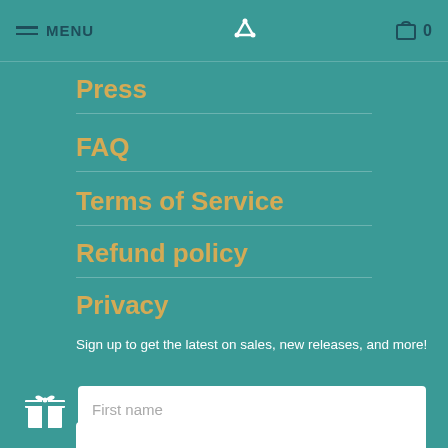MENU | [logo] | 0
Press
FAQ
Terms of Service
Refund policy
Privacy
Sign up to get the latest on sales, new releases, and more!
First name